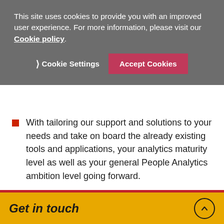This site uses cookies to provide you with an improved user experience. For more information, please visit our Cookie policy.
Cookie Settings | Accept Cookies
With tailoring our support and solutions to your needs and take on board the already existing tools and applications, your analytics maturity level as well as your general People Analytics ambition level going forward.
Get in touch